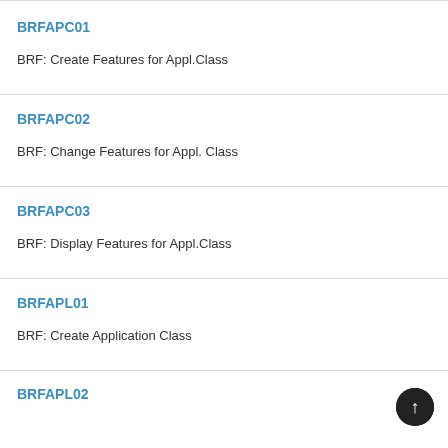BRFAPC01
BRF: Create Features for Appl.Class
BRFAPC02
BRF: Change Features for Appl. Class
BRFAPC03
BRF: Display Features for Appl.Class
BRFAPL01
BRF: Create Application Class
BRFAPL02